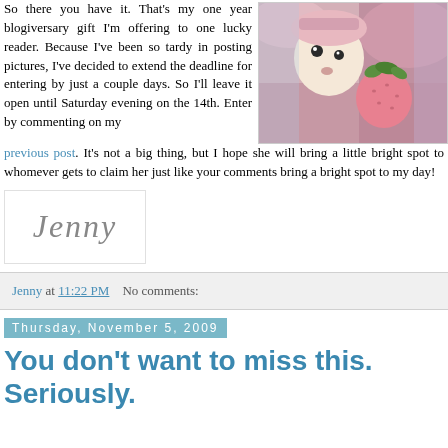So there you have it. That's my one year blogiversary gift I'm offering to one lucky reader. Because I've been so tardy in posting pictures, I've decided to extend the deadline for entering by just a couple days. So I'll leave it open until Saturday evening on the 14th. Enter by commenting on my previous post. It's not a big thing, but I hope she will bring a little bright spot to whomever gets to claim her just like your comments bring a bright spot to my day!
[Figure (photo): Photo of stuffed animal toys - a rag doll and a strawberry plush, surrounded by colorful fabric]
[Figure (photo): Handwritten signature reading 'Jenny' in cursive script on a white background with border]
Jenny at 11:22 PM   No comments:
Thursday, November 5, 2009
You don't want to miss this. Seriously.